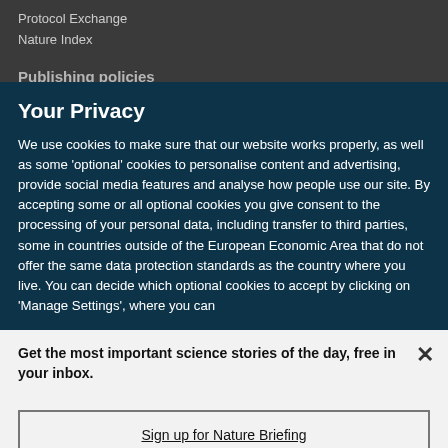Protocol Exchange
Nature Index
Publishing policies
Your Privacy
We use cookies to make sure that our website works properly, as well as some ‘optional’ cookies to personalise content and advertising, provide social media features and analyse how people use our site. By accepting some or all optional cookies you give consent to the processing of your personal data, including transfer to third parties, some in countries outside of the European Economic Area that do not offer the same data protection standards as the country where you live. You can decide which optional cookies to accept by clicking on ‘Manage Settings’, where you can
Get the most important science stories of the day, free in your inbox.
Sign up for Nature Briefing